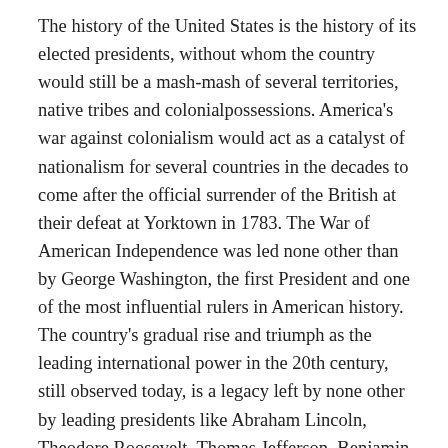The history of the United States is the history of its elected presidents, without whom the country would still be a mash-mash of several territories, native tribes and colonialpossessions. America's war against colonialism would act as a catalyst of nationalism for several countries in the decades to come after the official surrender of the British at their defeat at Yorktown in 1783. The War of American Independence was led none other than by George Washington, the first President and one of the most influential rulers in American history. The country's gradual rise and triumph as the leading international power in the 20th century, still observed today, is a legacy left by none other by leading presidents like Abraham Lincoln, Theodore Roosevelt, Thomas Jefferson, Benjamin Harrison and Franklin Roosevelt among many others, followed by their staff and individuals who coordinated in making a country known today as United States of America.
Brief discussion on the foundation of American